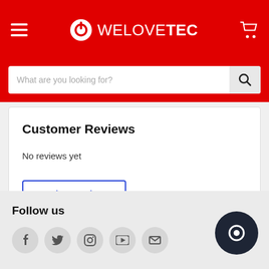WELOVETEC
What are you looking for?
Customer Reviews
No reviews yet
Write a review
Follow us
[Figure (illustration): Social media icons: Facebook, Twitter, Instagram, YouTube, Email]